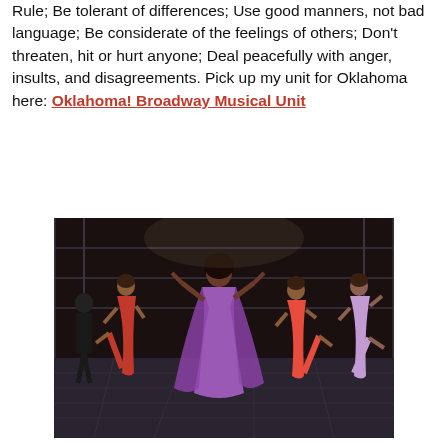Rule; Be tolerant of differences; Use good manners, not bad language; Be considerate of the feelings of others; Don't threaten, hit or hurt anyone; Deal peacefully with anger, insults, and disagreements. Pick up my unit for Oklahoma here: Oklahoma! Broadway Musical Unit
[Figure (photo): Color photograph of female dancers performing on stage, wearing colorful dresses (purple, red, lavender), with one central dancer in a purple dress with arms raised, others kicking legs up in a dance number, set on a darkened stage.]